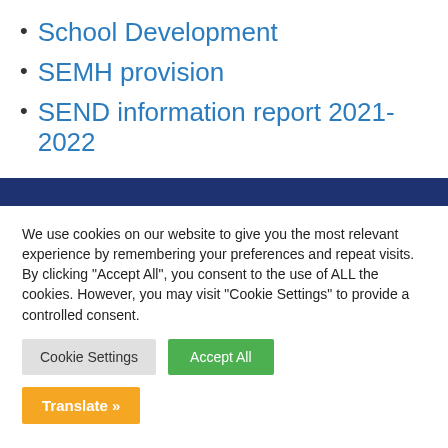School Development
SEMH provision
SEND information report 2021-2022
We use cookies on our website to give you the most relevant experience by remembering your preferences and repeat visits. By clicking “Accept All”, you consent to the use of ALL the cookies. However, you may visit "Cookie Settings" to provide a controlled consent.